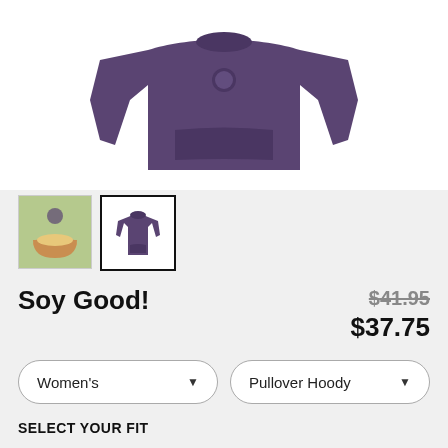[Figure (photo): Purple pullover hoodie displayed flat with arms spread, shown against a white background. Two thumbnail images below: one showing the hoodie design on a green background, one showing the purple hoodie.]
Soy Good!
$41.95 $37.75
Women's (dropdown) | Pullover Hoody (dropdown)
SELECT YOUR FIT